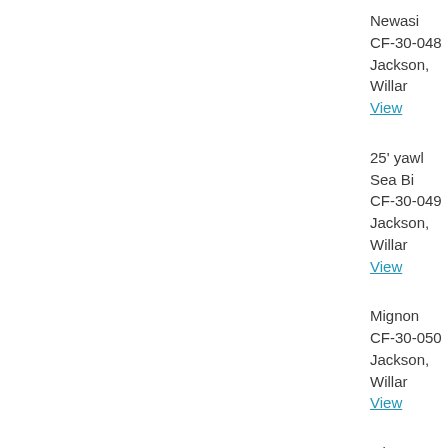Newasi
CF-30-048
Jackson, Willard
View
25' yawl Sea Bi...
CF-30-049
Jackson, Willard
View
Mignon
CF-30-050
Jackson, Willard
View
Mirage II
CF-30-051
Jackson, Willard
View
Hope Leslie
CF-30-053